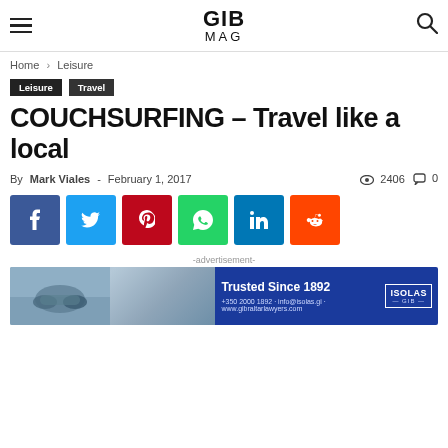GIB MAG
Home › Leisure
Leisure
Travel
COUCHSURFING – Travel like a local
By Mark Viales - February 1, 2017  👁 2406  💬 0
[Figure (other): Social media share buttons: Facebook, Twitter, Pinterest, WhatsApp, LinkedIn, Reddit]
-advertisement-
[Figure (other): ISOLAS law firm advertisement banner: Trusted Since 1892, photo of handshake, blue background with ISOLAS logo]